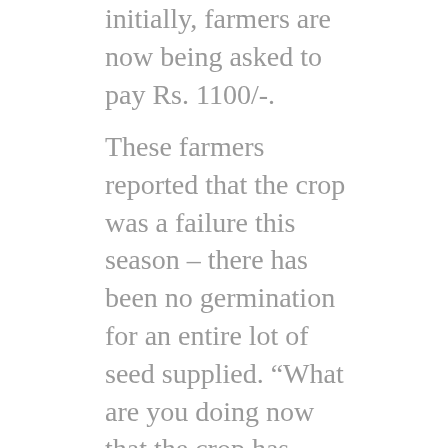initially, farmers are now being asked to pay Rs. 1100/-.
These farmers reported that the crop was a failure this season – there has been no germination for an entire lot of seed supplied. “What are you doing now that the crop has failed? Who will you hold accountable?”, we asked. There were bewildered looks